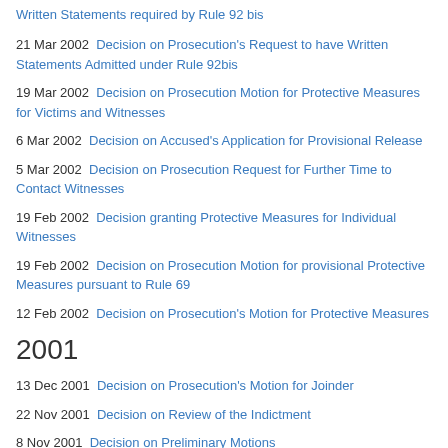21 Mar 2002  Decision on Prosecution's Request to have Written Statements Admitted under Rule 92bis
19 Mar 2002  Decision on Prosecution Motion for Protective Measures for Victims and Witnesses
6 Mar 2002  Decision on Accused's Application for Provisional Release
5 Mar 2002  Decision on Prosecution Request for Further Time to Contact Witnesses
19 Feb 2002  Decision granting Protective Measures for Individual Witnesses
19 Feb 2002  Decision on Prosecution Motion for provisional Protective Measures pursuant to Rule 69
12 Feb 2002  Decision on Prosecution's Motion for Protective Measures
2001
13 Dec 2001  Decision on Prosecution's Motion for Joinder
22 Nov 2001  Decision on Review of the Indictment
8 Nov 2001  Decision on Preliminary Motions